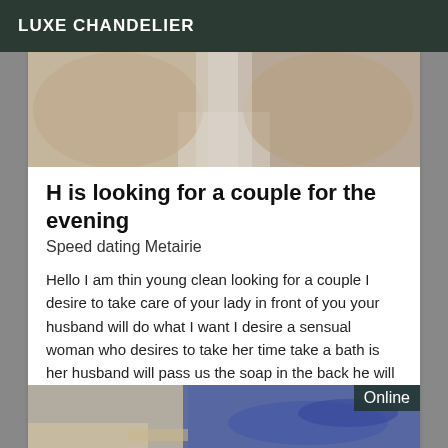LUXE CHANDELIER
[Figure (photo): Close-up photo of legs/lower body, partial view, indoor background]
H is looking for a couple for the evening
Speed dating Metairie
Hello I am thin young clean looking for a couple I desire to take care of your lady in front of you your husband will do what I want I desire a sensual woman who desires to take her time take a bath is her husband will pass us the soap in the back he will wipe us the back he will lie down is I will make love with his wife on him he will lick the taste that I will leave on his wife not to brutalize all sensual
[Figure (photo): Photo of a pool or water surface with blue tiles, partial view, with an 'Online' badge in the upper right corner]